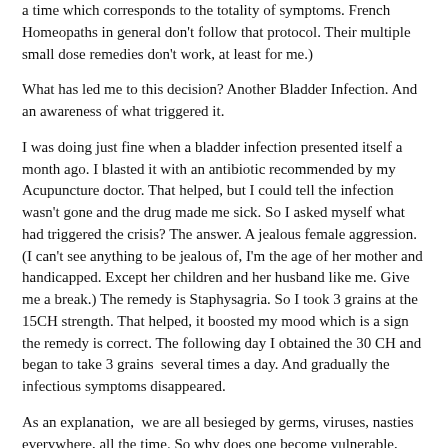a time which corresponds to the totality of symptoms. French Homeopaths in general don't follow that protocol. Their multiple small dose remedies don't work, at least for me.)
What has led me to this decision? Another Bladder Infection. And an awareness of what triggered it.
I was doing just fine when a bladder infection presented itself a month ago. I blasted it with an antibiotic recommended by my Acupuncture doctor. That helped, but I could tell the infection wasn't gone and the drug made me sick. So I asked myself what had triggered the crisis? The answer. A jealous female aggression. (I can't see anything to be jealous of, I'm the age of her mother and handicapped. Except her children and her husband like me. Give me a break.) The remedy is Staphysagria. So I took 3 grains at the 15CH strength. That helped, it boosted my mood which is a sign the remedy is correct. The following day I obtained the 30 CH and began to take 3 grains  several times a day. And gradually the infectious symptoms disappeared.
As an explanation,  we are all besieged by germs, viruses, nasties everywhere, all the time. So why does one become vulnerable, under